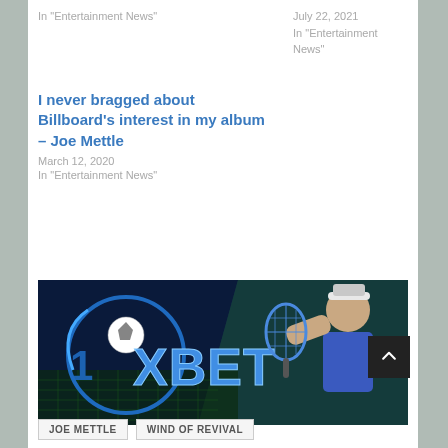In "Entertainment News"
July 22, 2021
In "Entertainment News"
I never bragged about Billboard's interest in my album – Joe Mettle
March 12, 2020
In "Entertainment News"
[Figure (photo): 1XBET advertisement banner featuring the 1XBET logo on a dark blue background on the left side, and a woman in a blue tennis outfit holding a racket on the right side]
JOE METTLE
WIND OF REVIVAL